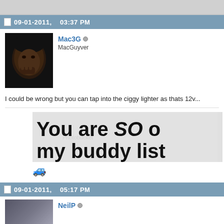09-01-2011,   03:37 PM
[Figure (photo): Profile photo of user Mac3G - dark photo of a person]
Mac3G
MacGuyver
I could be wrong but you can tap into the ciggy lighter as thats 12v...
[Figure (illustration): Photobucket hosted image - banner text reading 'You are SO o... my buddy list' with watermark, and a small pixel art car icon below]
09-01-2011,   05:17 PM
[Figure (photo): Profile photo of user NeilP]
NeilP